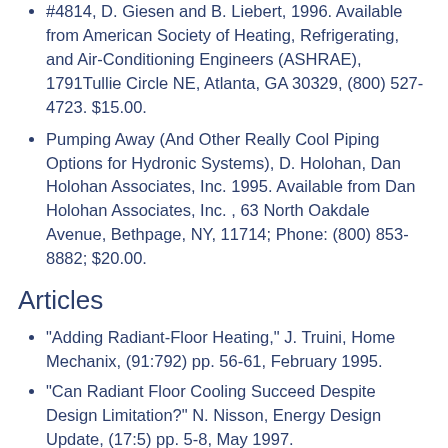#4814, D. Giesen and B. Liebert, 1996. Available from American Society of Heating, Refrigerating, and Air-Conditioning Engineers (ASHRAE), 1791Tullie Circle NE, Atlanta, GA 30329, (800) 527-4723. $15.00.
Pumping Away (And Other Really Cool Piping Options for Hydronic Systems), D. Holohan, Dan Holohan Associates, Inc. 1995. Available from Dan Holohan Associates, Inc. , 63 North Oakdale Avenue, Bethpage, NY, 11714; Phone: (800) 853-8882; $20.00.
Articles
"Adding Radiant-Floor Heating," J. Truini, Home Mechanix, (91:792) pp. 56-61, February 1995.
"Can Radiant Floor Cooling Succeed Despite Design Limitation?" N. Nisson, Energy Design Update, (17:5) pp. 5-8, May 1997.
"Electric-Radiant Floors," B. Kaercher, Jr. Fine Home Building, (No. 75) pp. 68-72, June/July 1992.